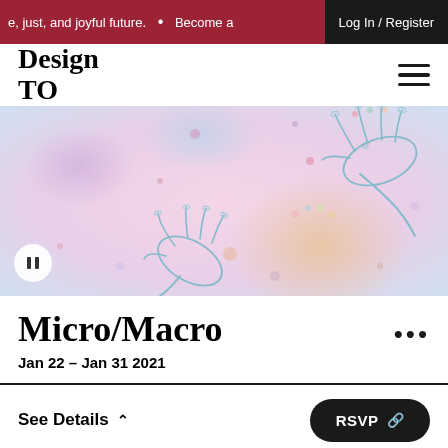e, just, and joyful future. • Become a  Log In / Register
Design TO
[Figure (illustration): Artistic illustration of two hands reaching toward each other with colorful glowing orbs and dots on a soft pink/purple background, reminiscent of a cosmic or ethereal scene.]
Micro/Macro
Jan 22 – Jan 31 2021
See Details ∧
RSVP